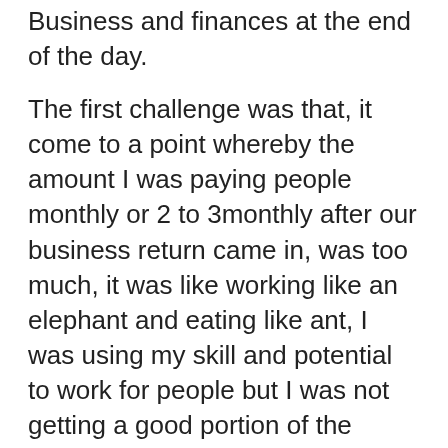Business and finances at the end of the day.
The first challenge was that, it come to a point whereby the amount I was paying people monthly or 2 to 3monthly after our business return came in, was too much, it was like working like an elephant and eating like ant, I was using my skill and potential to work for people but I was not getting a good portion of the return to myself or to the Business. I was never under any obligation not to reduce the profits share, but I decided not to do so, because I don't want to disappoint people, (painfully, the same set of people I did not want to disappoint them. Ended up disappointing me and getting me into serious trouble on the longrun).